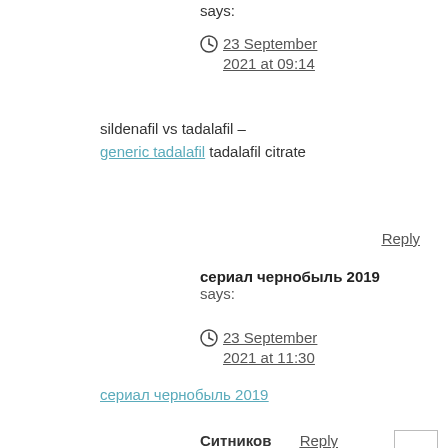says:
23 September 2021 at 09:14
sildenafil vs tadalafil – generic tadalafil tadalafil citrate
Reply
сериал чернобыль 2019 says:
23 September 2021 at 11:30
сериал чернобыль 2019
Ситников says:
Reply
23 September 2021 at 20:02